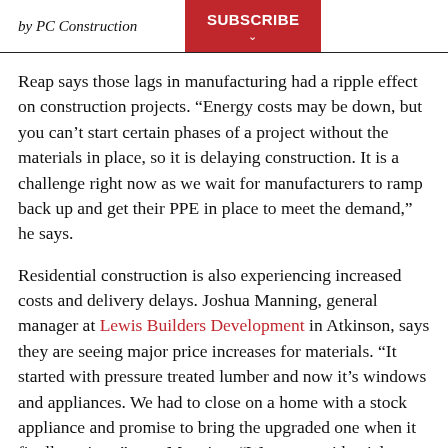by PC Construction
Reap says those lags in manufacturing had a ripple effect on construction projects. “Energy costs may be down, but you can’t start certain phases of a project without the materials in place, so it is delaying construction. It is a challenge right now as we wait for manufacturers to ramp back up and get their PPE in place to meet the demand,” he says.
Residential construction is also experiencing increased costs and delivery delays. Joshua Manning, general manager at Lewis Builders Development in Atkinson, says they are seeing major price increases for materials. “It started with pressure treated lumber and now it’s windows and appliances. We had to close on a home with a stock appliance and promise to bring the upgraded one when it finally arrives,” says Manning. “We are a residential builder working on a pretty tight